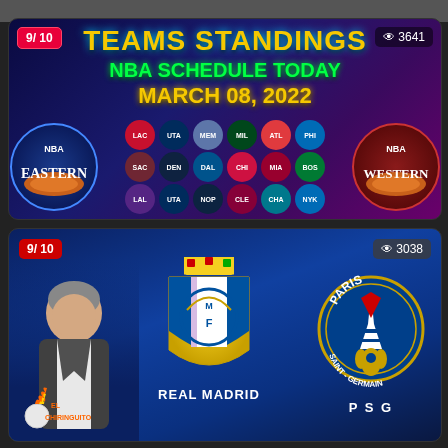[Figure (screenshot): NBA Teams Standings card showing Eastern and Western conference logos with schedule for March 08, 2022. Rating badge 9/10, view count 3641.]
[Figure (screenshot): Soccer match preview card showing Real Madrid vs PSG with El Chiringuito branding, a presenter photo, and team crests. Rating badge 9/10, view count 3038.]